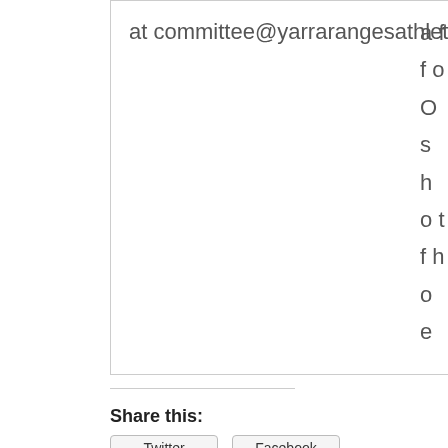at committee@yarrarangesathletics.org.au We would love your feedback!
Share this: